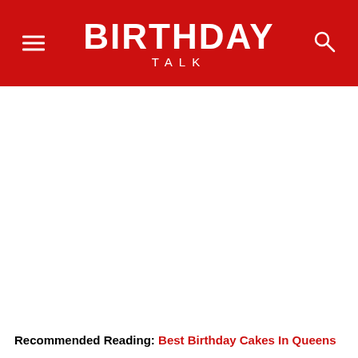BIRTHDAY TALK
Recommended Reading: Best Birthday Cakes In Queens